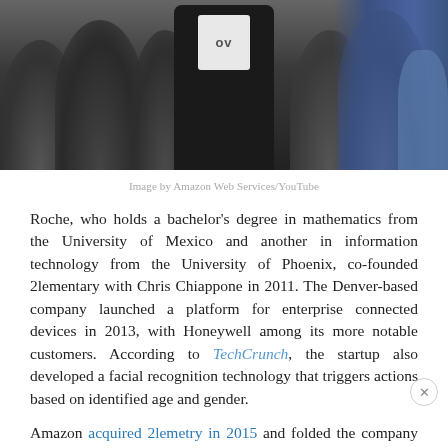[Figure (photo): Crowd of people at an event, viewed from behind; a person wearing a dark jacket with a white T-shirt showing partial text is in the center; a figure in blue is visible at right.]
Image by Amazon Web Services/YouTube
Roche, who holds a bachelor's degree in mathematics from the University of Mexico and another in information technology from the University of Phoenix, co-founded 2lementary with Chris Chiappone in 2011. The Denver-based company launched a platform for enterprise connected devices in 2013, with Honeywell among its more notable customers. According to TechCrunch, the startup also developed a facial recognition technology that triggers actions based on identified age and gender.
Amazon acquired 2lemetry in 2015 and folded the company into its Amazon Web Services organization; both founders remained on board, with Chiappone serving as software development manager.
The duo led the development of Sumerian, with job postings